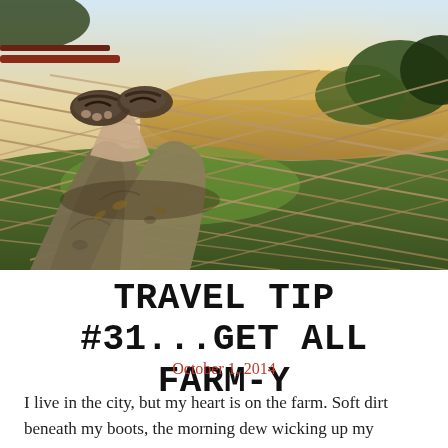[Figure (photo): Person lying in a rope hammock outdoors, feet wearing sandals visible in foreground, looking out over green grass and golden fields with trees and warm sunset light in background.]
TRAVEL TIP #31...GET ALL FARM-Y
October 1, 2014
I live in the city, but my heart is on the farm. Soft dirt beneath my boots, the morning dew wicking up my